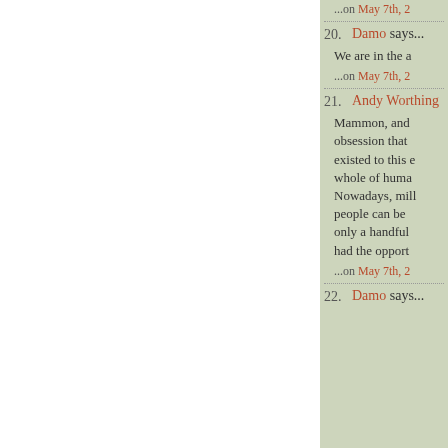...on May 7th, 2
20. Damo says...
We are in the a
...on May 7th, 2
21. Andy Worthing
Mammon, and obsession that existed to this e whole of huma Nowadays, mill people can be only a handful had the opport
...on May 7th, 2
22. Damo says...